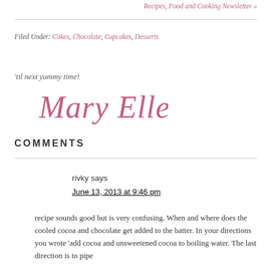Recipes, Food and Cooking Newsletter »
Filed Under: Cakes, Chocolate, Cupcakes, Desserts
'til next yummy time!
[Figure (illustration): Cursive signature reading 'Mary Ellen' in pink/rose color]
COMMENTS
rivky says
June 13, 2013 at 9:46 pm
recipe sounds good but is very confusing. When and where does the cooled cocoa and chocolate get added to the batter. In your directions you wrote 'add cocoa and unsweetened cocoa to boiling water. The last direction is to pipe